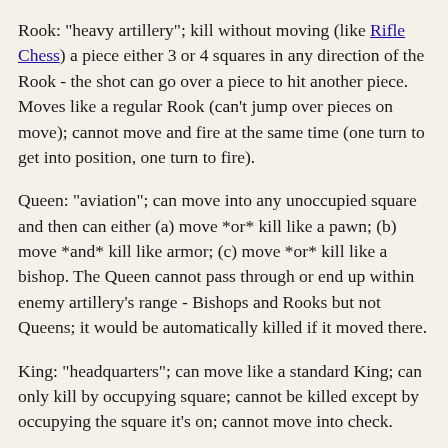Rook: "heavy artillery"; kill without moving (like Rifle Chess) a piece either 3 or 4 squares in any direction of the Rook - the shot can go over a piece to hit another piece. Moves like a regular Rook (can't jump over pieces on move); cannot move and fire at the same time (one turn to get into position, one turn to fire).
Queen: "aviation"; can move into any unoccupied square and then can either (a) move *or* kill like a pawn; (b) move *and* kill like armor; (c) move *or* kill like a bishop. The Queen cannot pass through or end up within enemy artillery's range - Bishops and Rooks but not Queens; it would be automatically killed if it moved there.
King: "headquarters"; can move like a standard King; can only kill by occupying square; cannot be killed except by occupying the square it's on; cannot move into check.